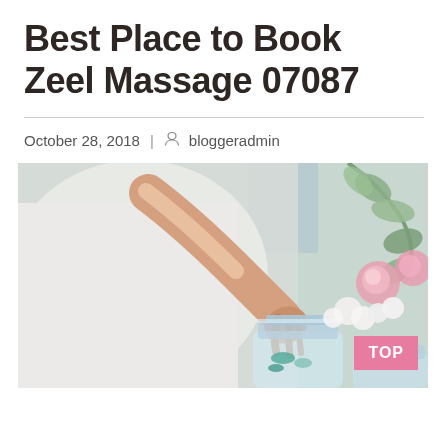Best Place to Book Zeel Massage 07087
October 28, 2018 | bloggeradmin
[Figure (photo): A person in white clothing reaching into a clear glass jar, with pink and white flowers and eucalyptus leaves in the background. A pink 'TOP' badge is visible in the bottom right corner.]